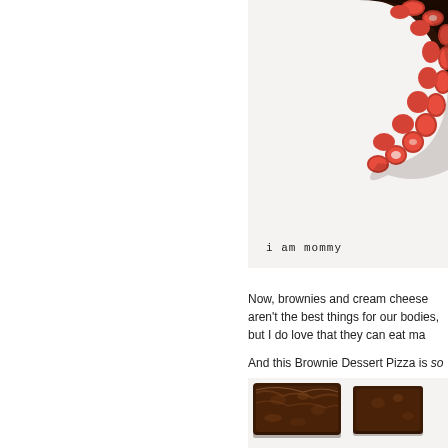[Figure (photo): Top-down photo of a brownie dessert pizza with fresh strawberries arranged around the edge on a dark chocolate crust, partially visible in top-right of frame, white background. Watermark text 'i am mommy' in typewriter font.]
Now, brownies and cream cheese aren't the best things for our bodies, but I do love that they can eat ma
And this Brownie Dessert Pizza is so (...) here)
[Figure (photo): Close-up photo of dark chocolate brownies on a white surface, showing the fudgy texture and dark brown color.]